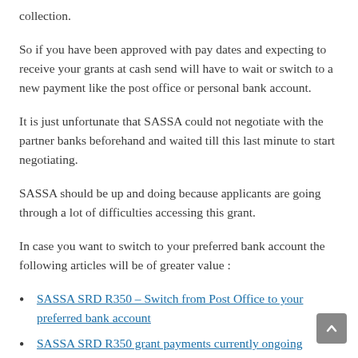collection.
So if you have been approved with pay dates and expecting to receive your grants at cash send will have to wait or switch to a new payment like the post office or personal bank account.
It is just unfortunate that SASSA could not negotiate with the partner banks beforehand and waited till this last minute to start negotiating.
SASSA should be up and doing because applicants are going through a lot of difficulties accessing this grant.
In case you want to switch to your preferred bank account the following articles will be of greater value :
SASSA SRD R350 – Switch from Post Office to your preferred bank account
SASSA SRD R350 grant payments currently ongoing